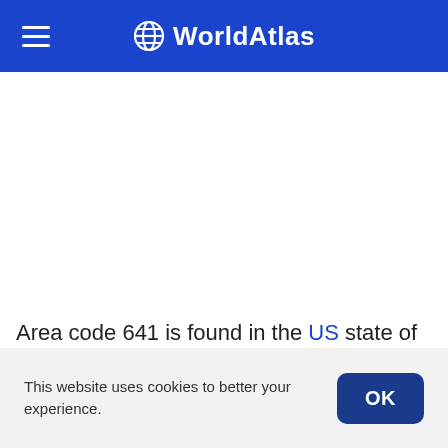WorldAtlas
Area code 641 is found in the US state of Iowa. Primarily servicing the city of Marshalltown
This website uses cookies to better your experience.